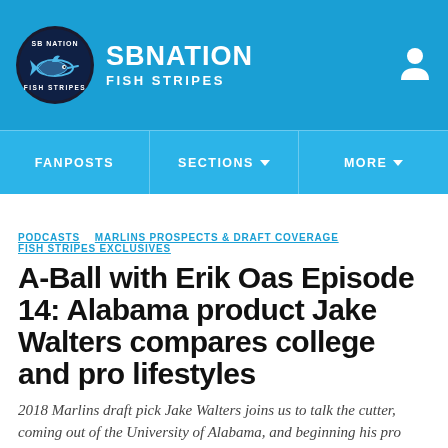SB NATION — FISH STRIPES
[Figure (logo): SB Nation Fish Stripes circular logo with fish/marlin graphic, white on dark background]
FANPOSTS | SECTIONS | MORE
PODCASTS  MARLINS PROSPECTS & DRAFT COVERAGE  FISH STRIPES EXCLUSIVES
A-Ball with Erik Oas Episode 14: Alabama product Jake Walters compares college and pro lifestyles
2018 Marlins draft pick Jake Walters joins us to talk the cutter, coming out of the University of Alabama, and beginning his pro career.
By Ely Sussman and Erik Oas | Jul 3, 2019, 7:30am EDT